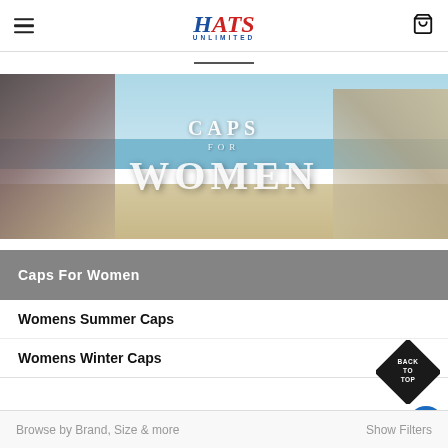Hats Unlimited — navigation header with hamburger menu and cart icon
[Figure (photo): Banner image with two women wearing caps on a beach. Text overlay reads 'Caps For Women' in large serif font.]
Caps For Women
Womens Summer Caps
Womens Winter Caps
Browse by Brand, Size & more    Show Filters